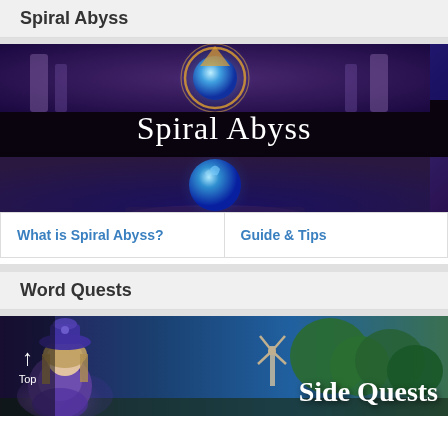Spiral Abyss
[Figure (illustration): Spiral Abyss banner image with a glowing blue orb surrounded by golden rings and purple/dark fantasy architecture, with 'Spiral Abyss' text overlaid on a dark semi-transparent bar in the center]
What is Spiral Abyss?
Guide & Tips
Word Quests
[Figure (illustration): Side Quests banner with an anime-style character wearing a purple hat and outfit on the left, a scenic background with windmill and trees on the right, and 'Side Quests' text in white on the right side]